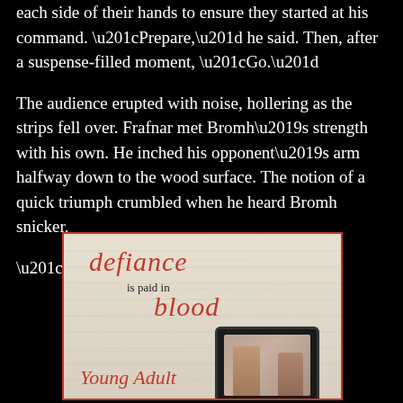each side of their hands to ensure they started at his command. “Prepare,” he said. Then, after a suspense-filled moment, “Go.”
The audience erupted with noise, hollering as the strips fell over. Frafnar met Bromh’s strength with his own. He inched his opponent’s arm halfway down to the wood surface. The notion of a quick triumph crumbled when he heard Bromh snicker.
“That all you got, twig?”
[Figure (illustration): Book cover advertisement image showing text 'defiance is paid in blood' in red script on a white wood-plank background, with 'Young Adult' in red cursive at the bottom left, and a tablet device showing two figures on the right side. Image has a red border.]